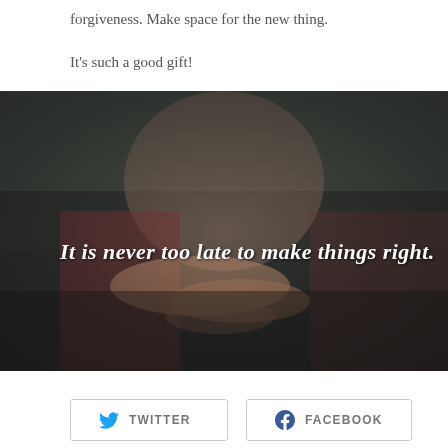forgiveness. Make space for the new thing.
It's such a good gift!
[Figure (photo): A woman resting her crossed arms on a surface, looking contemplative, with an overlay quote: 'It is never too late to make things right.']
TWITTER
FACEBOOK